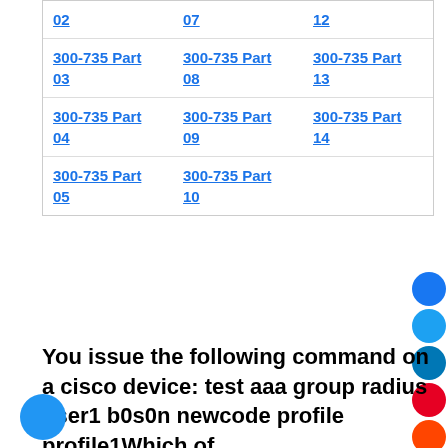| 02 | 07 | 12 |
| 300-735 Part 03 | 300-735 Part 08 | 300-735 Part 13 |
| 300-735 Part 04 | 300-735 Part 09 | 300-735 Part 14 |
| 300-735 Part 05 | 300-735 Part 10 |  |
You issue the following command on a cisco device: test aaa group radius user1 b0s0n newcode profile profile1Which of